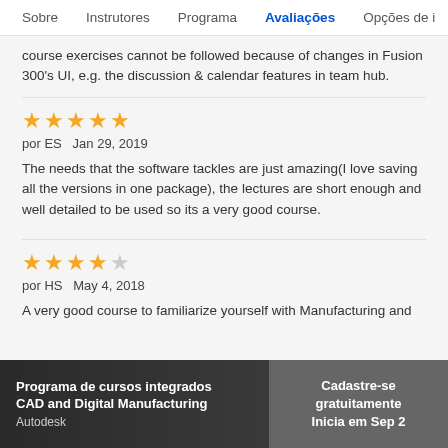Sobre   Instrutores   Programa   Avaliações   Opções de i
course exercises cannot be followed because of changes in Fusion 300's UI, e.g. the discussion & calendar features in team hub.
⭐⭐⭐⭐⭐ por ES   Jan 29, 2019

The needs that the software tackles are just amazing(I love saving all the versions in one package), the lectures are short enough and well detailed to be used so its a very good course.
⭐⭐⭐⭐☆ por HS   May 4, 2018

A very good course to familiarize yourself with Manufacturing and
Programa de cursos integrados CAD and Digital Manufacturing
Autodesk
Cadastre-se gratuitamente
Inicia em Sep 2